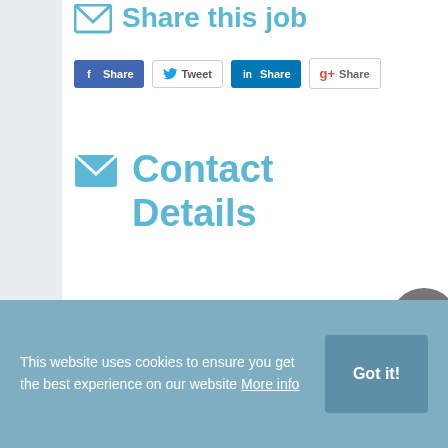Share this job
[Figure (screenshot): Social sharing buttons: Facebook Share, Tweet, LinkedIn Share, Google+ Share]
Contact Details
[Figure (other): Small green circle dot indicator]
ExecutiveSurf
This website uses cookies to ensure you get the best experience on our website More info